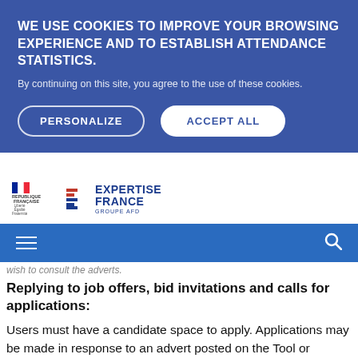WE USE COOKIES TO IMPROVE YOUR BROWSING EXPERIENCE AND TO ESTABLISH ATTENDANCE STATISTICS.
By continuing on this site, you agree to the use of these cookies.
PERSONALIZE   ACCEPT ALL
[Figure (logo): République Française and Expertise France Groupe AFD logos]
wish to consult the adverts.
Replying to job offers, bid invitations and calls for applications:
Users must have a candidate space to apply. Applications may be made in response to an advert posted on the Tool or spontaneously for positions at Expertise France's headquarters in Paris. To submit their application, Users must import the requested documents.